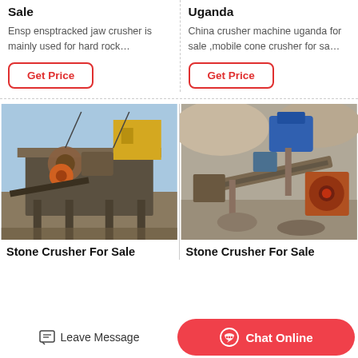Ensp ensptracked jaw crusher is mainly used for hard rock…
China crusher machine uganda for sale ,mobile cone crusher for sa…
Get Price
Get Price
[Figure (photo): Outdoor industrial stone crusher machinery on elevated platform with yellow building in background]
[Figure (photo): Outdoor stone crushing plant with blue and orange machinery on rocky terrain]
Stone Crusher For Sale
Stone Crusher For Sale
Leave Message
Chat Online